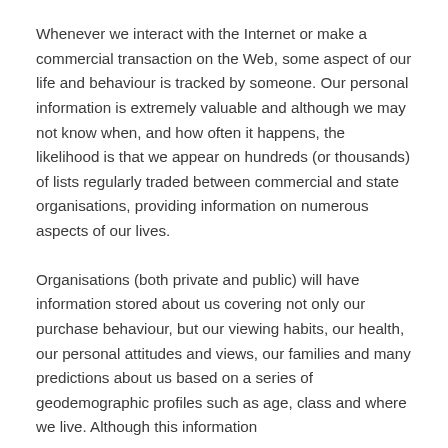Whenever we interact with the Internet or make a commercial transaction on the Web, some aspect of our life and behaviour is tracked by someone. Our personal information is extremely valuable and although we may not know when, and how often it happens, the likelihood is that we appear on hundreds (or thousands) of lists regularly traded between commercial and state organisations, providing information on numerous aspects of our lives.
Organisations (both private and public) will have information stored about us covering not only our purchase behaviour, but our viewing habits, our health, our personal attitudes and views, our families and many predictions about us based on a series of geodemographic profiles such as age, class and where we live. Although this information